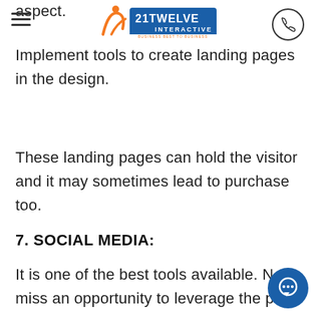aspect.
21Twelve Interactive logo and navigation
Implement tools to create landing pages in the design.
These landing pages can hold the visitor and it may sometimes lead to purchase too.
7. SOCIAL MEDIA:
It is one of the best tools available. Never miss an opportunity to leverage the power of social media.